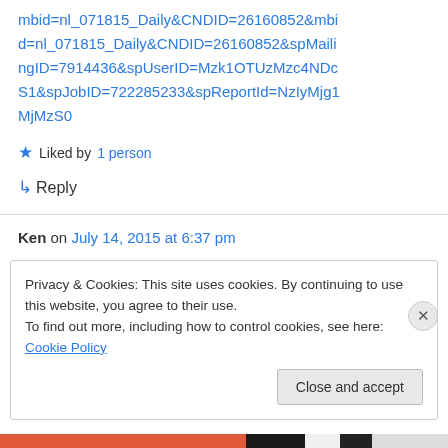mbid=nl_071815_Daily&CNDID=26160852&mbid=nl_071815_Daily&CNDID=26160852&spMailingID=7914436&spUserID=Mzk1OTUzMzc4NDcS1&spJobID=722285233&spReportId=NzIyMjg1MjMzS0
★ Liked by 1 person
↳ Reply
Ken on July 14, 2015 at 6:37 pm
Privacy & Cookies: This site uses cookies. By continuing to use this website, you agree to their use.
To find out more, including how to control cookies, see here: Cookie Policy
Close and accept